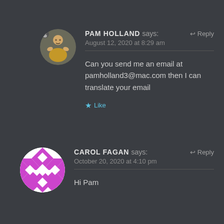[Figure (photo): Circular avatar photo of Pam Holland, a person in a yellow top, dark background]
PAM HOLLAND says:
August 12, 2020 at 8:29 am
Reply
Can you send me an email at pamholland3@mac.com then I can translate your email
Like
[Figure (illustration): Circular avatar with purple and white geometric diamond/checker pattern]
CAROL FAGAN says:
October 20, 2020 at 4:10 pm
Reply
Hi Pam